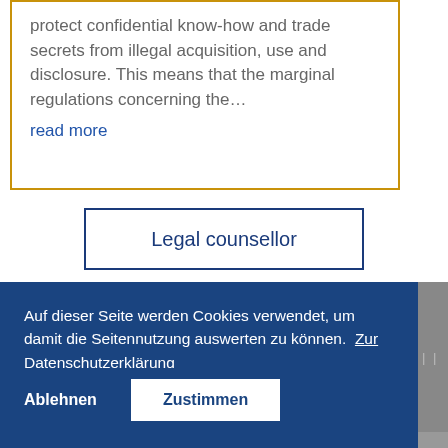protect confidential know-how and trade secrets from illegal acquisition, use and disclosure. This means that the marginal regulations concerning the… read more
Legal counsellor
Auf dieser Seite werden Cookies verwendet, um damit die Seitennutzung auswerten zu können.  Zur Datenschutzerklärung
Ablehnen  Zustimmen